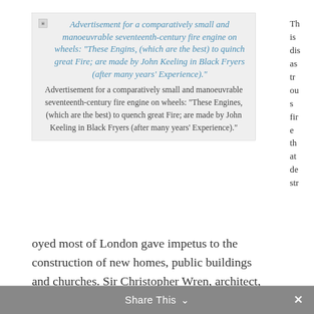[Figure (illustration): Advertisement for a comparatively small and manoeuvrable seventeenth-century fire engine on wheels with broken image icon and caption text]
Advertisement for a comparatively small and manoeuvrable seventeenth-century fire engine on wheels: "These Engines, (which are the best) to quench great Fire; are made by John Keeling in Black Fryers (after many years' Experience)."
This disastrous fire that destroyed most of London gave impetus to the construction of new homes, public buildings and churches. Sir Christopher Wren, architect, as the leading influence, designed St. Paul's Cathedral in London.
Share This ✓ ✕